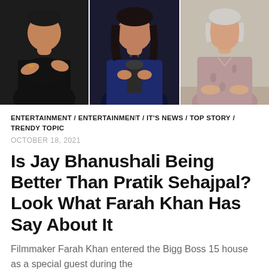[Figure (photo): Three-panel photo strip: left panel shows a man in a black t-shirt with arms crossed against a dark background; middle panel shows a woman in a dark blue outfit holding a black award trophy; right panel shows an older man in a paisley/floral top seated at a table.]
ENTERTAINMENT / ENTERTAINMENT / IT'S NEWS / TOP STORY / TRENDY TOPIC
OCTOBER 18, 2021
Is Jay Bhanushali Being Better Than Pratik Sehajpal? Look What Farah Khan Has Say About It
Filmmaker Farah Khan entered the Bigg Boss 15 house as a special guest during the weekend ka vaar episode. Farah...